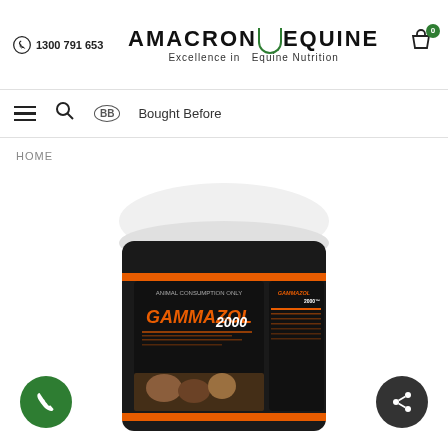1300 791 653 | AMACRON EQUINE - Excellence in Equine Nutrition
HOME
[Figure (photo): A black and white plastic tub of Gammazol 2000 equine supplement product with orange branding and images of horses/cattle on the label.]
BB Bought Before